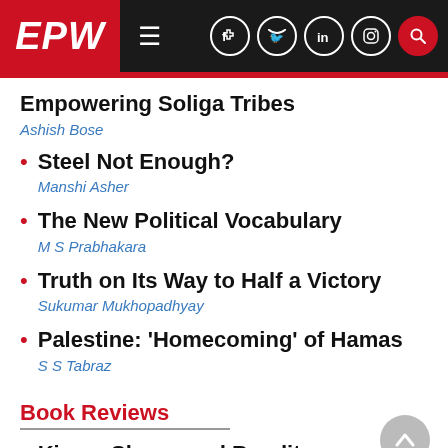EPW
Empowering Soliga Tribes
Steel Not Enough?
The New Political Vocabulary
Truth on Its Way to Half a Victory
Palestine: 'Homecoming' of Hamas
Book Reviews
Kings, Slaves and Bandits